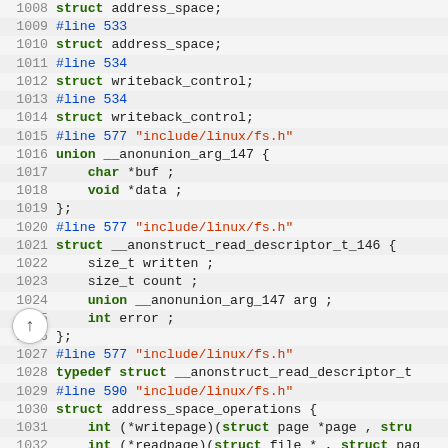[Figure (screenshot): Source code viewer showing C code lines 1008-1037 with syntax highlighting. Line numbers in grey, keywords (struct, union, typedef, int, char, void) in bold green, #line directives in blue, string literals in red/orange, and regular code in dark/black.]